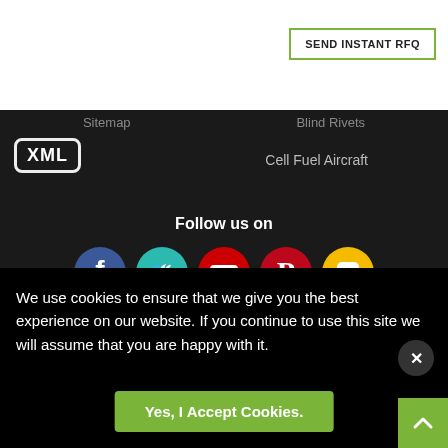[Figure (logo): SEND INSTANT RFQ button with green border]
Sitemap
Blind Rivets
[Figure (logo): XML logo in white rounded rectangle border]
Cell Fuel Aircraft
Follow us on
[Figure (infographic): Social media icons: Facebook (blue circle), Twitter (teal circle), YouTube (red circle), Pinterest (red circle), Blogger (yellow circle)]
We Accept
[Figure (infographic): Payment card logos: AMEX (blue), Discover (orange gradient), VISA (blue/yellow), Mastercard (blue with red/orange circles)]
[Figure (screenshot): App store download buttons (Google Play and Apple App Store) partially visible]
We use cookies to ensure that we give you the best experience on our website. If you continue to use this site we will assume that you are happy with it.
[Figure (other): Close (X) button circle]
Yes, I Accept Cookies.
[Figure (other): Scroll up arrow button (green)]